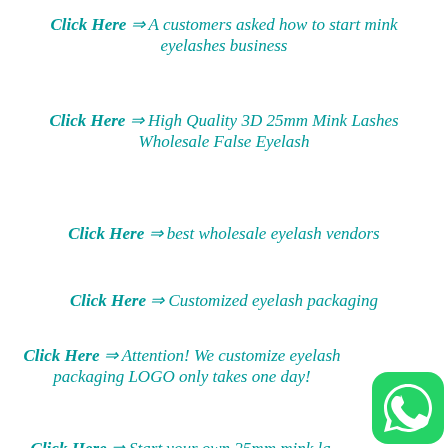Click Here  ⇒  A customers asked how to start mink eyelashes business
Click Here  ⇒  High Quality 3D 25mm Mink Lashes Wholesale False Eyelash
Click Here  ⇒  best wholesale eyelash vendors
Click Here  ⇒  Customized eyelash packaging
Click Here  ⇒  Attention! We customize eyelash packaging LOGO only takes one day!
Click Here  ⇒  Start your own 25mm mink lashes business
[Figure (logo): WhatsApp logo: green rounded square with white phone handset icon]